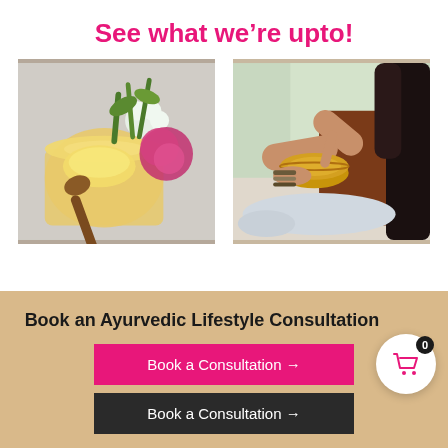See what we're upto!
[Figure (photo): Overhead photo of a glass jar with ghee/butter and a wooden spoon, surrounded by white and pink flowers on a gray surface.]
[Figure (photo): Woman sitting cross-legged holding a brass singing bowl, wearing a brown top and bracelets, with soft natural light behind her.]
Book an Ayurvedic Lifestyle Consultation
Book a Consultation →
Book a Consultation →